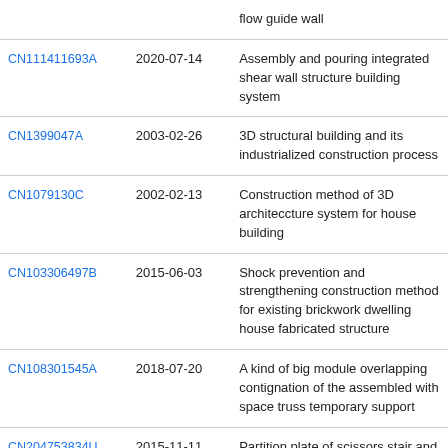| Patent Number | Date | Title |
| --- | --- | --- |
|  |  | flow guide wall |
| CN111411693A | 2020-07-14 | Assembly and pouring integrated shear wall structure building system |
| CN1399047A | 2003-02-26 | 3D structural building and its industrialized construction process |
| CN1079130C | 2002-02-13 | Construction method of 3D architeccture system for house building |
| CN103306497B | 2015-06-03 | Shock prevention and strengthening construction method for existing brickwork dwelling house fabricated structure |
| CN108301545A | 2018-07-20 | A kind of big module overlapping contignation of the assembled with space truss temporary support |
| CN204753834U | 2015-11-11 | Partition plate of scissors stair and connection structure of floor roof |